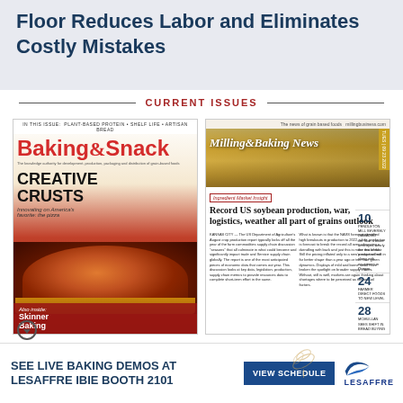Floor Reduces Labor and Eliminates Costly Mistakes
CURRENT ISSUES
[Figure (photo): Cover of Baking & Snack magazine featuring 'CREATIVE CRUSTS - Innovating on America's favorite: the pizza' with a pizza image. Also Inside: Skinner Baking]
[Figure (photo): Cover of Milling & Baking News featuring 'Record US soybean production, war, logistics, weather all part of grains outlook' with wheat/grain photo]
SEE LIVE BAKING DEMOS AT LESAFFRE IBIE BOOTH 2101
VIEW SCHEDULE
[Figure (logo): Lesaffre logo with bird graphic]